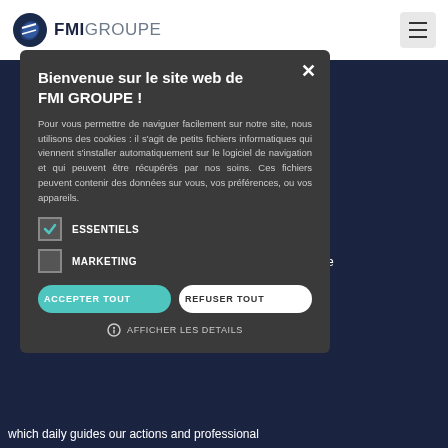FMI GROUPE
Bienvenue sur le site web de FMI GROUPE !
Pour vous permettre de naviguer facilement sur notre site, nous utilisons des cookies : il s'agit de petits fichiers informatiques qui viennent s'installer automatiquement sur le logiciel de navigation et qui peuvent être récupérés par nos soins. Ces fichiers peuvent contenir des données sur vous, vos préférences, ou vos appareils.
ESSENTIELS
MARKETING
ACCEPTER TOUT
REFUSER TOUT
AFFICHER LES DETAILS
expertise to e world. We to carry out provider, we s. To fit your network of sur Mer, Le Asia (Hong World Cargo ce (GAA). We h enables us continent.We lity services. thical policy which daily guides our actions and professional